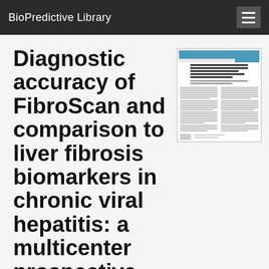BioPredictive Library
Diagnostic accuracy of FibroScan and comparison to liver fibrosis biomarkers in chronic viral hepatitis: a multicenter prospective study (the FIBROSTIC study).
[Figure (screenshot): Thumbnail image of a scientific journal article page showing title, authors, abstract, and body text in two-column format with a blue/teal journal header.]